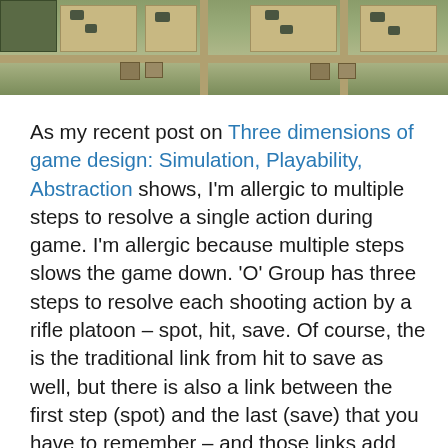[Figure (photo): Aerial view of a wargame tabletop board showing terrain tiles with miniature vehicles/tanks and road network]
As my recent post on Three dimensions of game design: Simulation, Playability, Abstraction shows, I'm allergic to multiple steps to resolve a single action during game. I'm allergic because multiple steps slows the game down. 'O' Group has three steps to resolve each shooting action by a rifle platoon – spot, hit, save. Of course, the is the traditional link from hit to save as well, but there is also a link between the first step (spot) and the last (save) that you have to remember – and those links add cognitive load and take time. So I wanted to explore simpler rules that achieved a similar effect